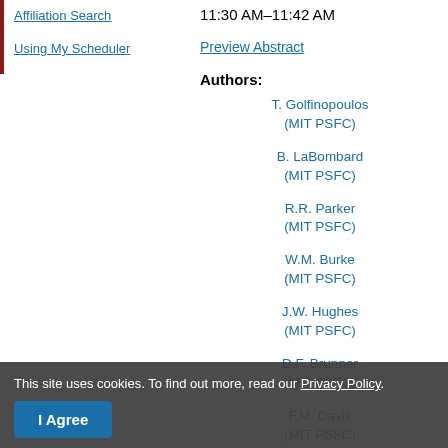Affiliation Search
Using My Scheduler
11:30 AM–11:42 AM
Preview Abstract
Authors:
T. Golfinopoulos (MIT PSFC)
B. LaBombard (MIT PSFC)
R.R. Parker (MIT PSFC)
W.M. Burke (MIT PSFC)
J.W. Hughes (MIT PSFC)
D.F. Brunner (MIT PSFC)
F.M. Davis (MIT PSFC)
P.C. Ennever (MIT PSFC)
R.S. Granetz (MIT PSFC)
This site uses cookies. To find out more, read our Privacy Policy.